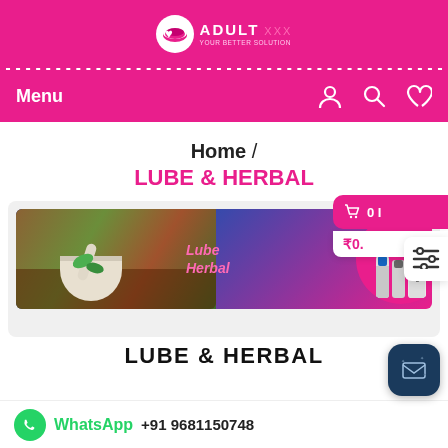ADULT [store name] - header logo
Menu
Home / LUBE & HERBAL
[Figure (screenshot): Cart popup showing 0 items and ₹0. price, with filter slider icon overlay]
[Figure (photo): Banner image showing mortar and pestle with herbs on left, Lube Herbal text in center, product bottles on pink circle on right]
LUBE & HERBAL
WhatsApp +91 9681150748